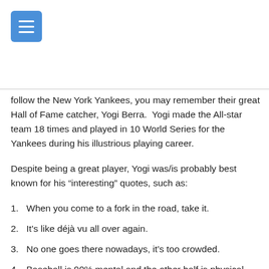follow the New York Yankees, you may remember their great Hall of Fame catcher, Yogi Berra. Yogi made the All-star team 18 times and played in 10 World Series for the Yankees during his illustrious playing career.
Despite being a great player, Yogi was/is probably best known for his “interesting” quotes, such as:
When you come to a fork in the road, take it.
It’s like déjà vu all over again.
No one goes there nowadays, it’s too crowded.
Baseball is 90% mental and the other half is physical.
A nickel ain’t worth a dime anymore.